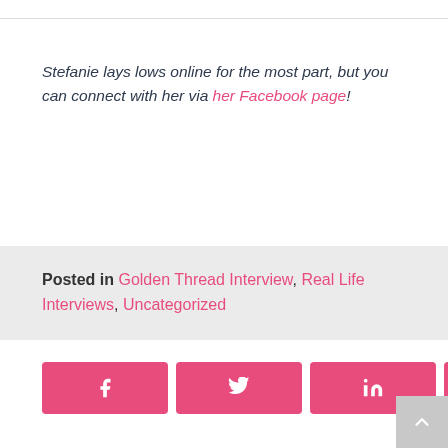Stefanie lays lows online for the most part, but you can connect with her via her Facebook page!
Posted in Golden Thread Interview, Real Life Interviews, Uncategorized
[Figure (other): Social share buttons: Facebook, Twitter, LinkedIn, Pinterest; share count 0 SHARES; scroll-to-top button]